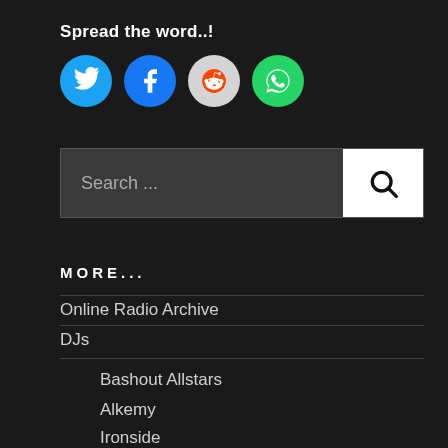Spread the word..!
[Figure (illustration): Four social media share buttons: Twitter (blue bird), Facebook (blue f), Reddit (light grey alien), WhatsApp (green phone)]
Search ...
MORE...
Online Radio Archive
DJs
Bashout Allstars
Alkemy
Ironside